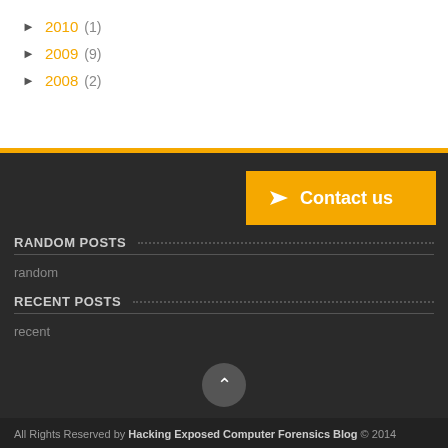► 2010 (1)
► 2009 (9)
► 2008 (2)
RANDOM POSTS
random
RECENT POSTS
recent
All Rights Reserved by Hacking Exposed Computer Forensics Blog © 2014